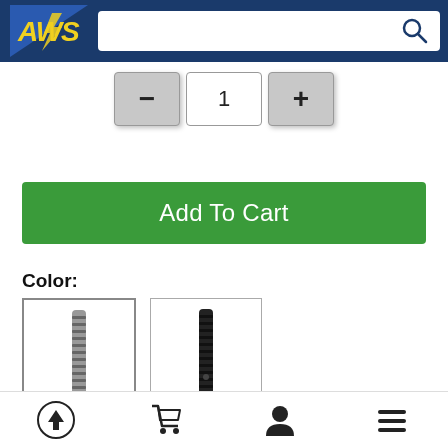[Figure (screenshot): AWS logo - yellow and white text on blue diagonal background]
[Figure (screenshot): Search bar with magnifying glass icon]
[Figure (screenshot): Quantity selector with minus button, input field showing 1, and plus button]
Add To Cart
Color:
[Figure (photo): Two color swatches showing grip products - gray/striped and black variants]
Size:
[Figure (screenshot): Bottom navigation bar with upload, cart, user, and menu icons]